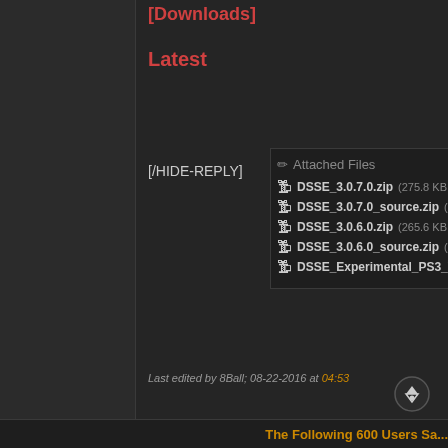[Downloads]
Latest
[/HIDE-REPLY]
[Figure (screenshot): Attached Files panel showing zip file downloads: DSSE_3.0.7.0.zip (275.8 KB), DSSE_3.0.7.0_source.zip (60...), DSSE_3.0.6.0.zip (265.6 KB), DSSE_3.0.6.0_source.zip (66...), DSSE_Experimental_PS3_Ve...]
Last edited by 8Ball; 08-22-2016 at 04:53
The Following 600 Users Sa...